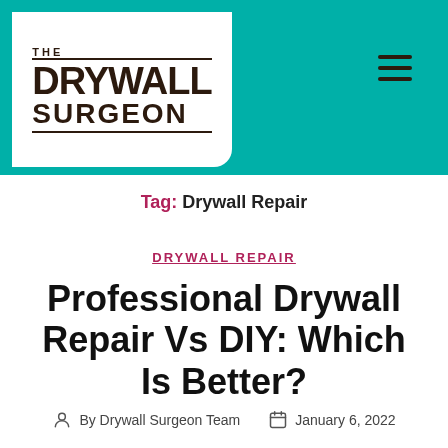[Figure (logo): The Drywall Surgeon logo — white rounded box with bold serif/sans text reading THE DRYWALL SURGEON with horizontal rules above and below, on a teal background header with hamburger menu icon]
Tag: Drywall Repair
DRYWALL REPAIR
Professional Drywall Repair Vs DIY: Which Is Better?
By Drywall Surgeon Team    January 6, 2022